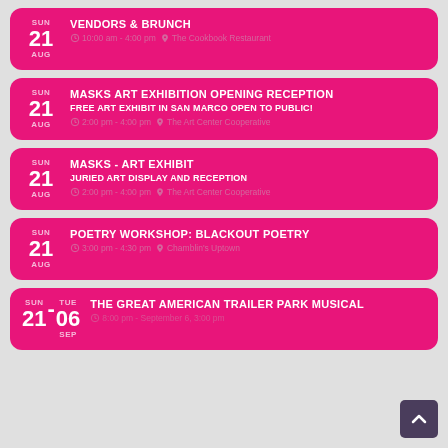SUN 21 AUG — VENDORS & BRUNCH — 10:00 am - 4:00 pm — The Cookbook Restaurant
SUN 21 AUG — MASKS ART EXHIBITION OPENING RECEPTION — FREE ART EXHIBIT IN SAN MARCO OPEN TO PUBLIC! — 2:00 pm - 4:00 pm — The Art Center Cooperative
SUN 21 AUG — MASKS - ART EXHIBIT — JURIED ART DISPLAY AND RECEPTION — 2:00 pm - 4:00 pm — The Art Center Cooperative
SUN 21 AUG — POETRY WORKSHOP: BLACKOUT POETRY — 3:00 pm - 4:30 pm — Chamblin's Uptown
SUN 21 - TUE 06 SEP — THE GREAT AMERICAN TRAILER PARK MUSICAL — 8:00 pm - September 6, 3:00 pm